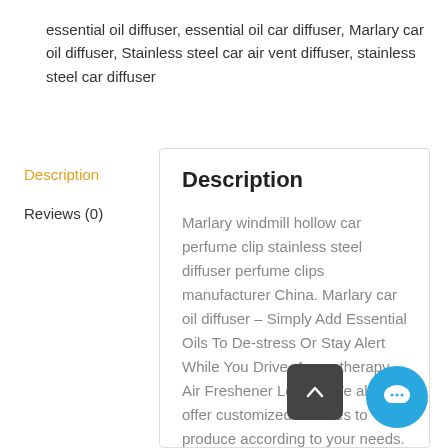essential oil diffuser, essential oil car diffuser, Marlary car oil diffuser, Stainless steel car air vent diffuser, stainless steel car diffuser
Description
Reviews (0)
Description
Marlary windmill hollow car perfume clip stainless steel diffuser perfume clips manufacturer China. Marlary car oil diffuser – Simply Add Essential Oils To De-stress Or Stay Alert While You Drive, Aromatherapy Air Freshener Locket. We also offer customized services to produce according to your needs. Please contact us without hesitation if you need it.